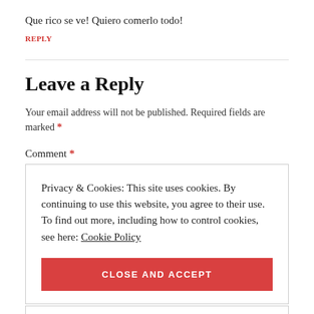Que rico se ve! Quiero comerlo todo!
REPLY
Leave a Reply
Your email address will not be published. Required fields are marked *
Comment *
Privacy & Cookies: This site uses cookies. By continuing to use this website, you agree to their use.
To find out more, including how to control cookies, see here: Cookie Policy
CLOSE AND ACCEPT